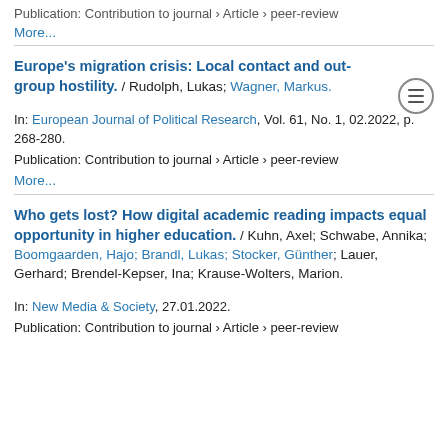Publication: Contribution to journal › Article › peer-review
More...
Europe's migration crisis: Local contact and out-group hostility.
/ Rudolph, Lukas; Wagner, Markus.
In: European Journal of Political Research, Vol. 61, No. 1, 02.2022, p. 268-280.
Publication: Contribution to journal › Article › peer-review
More...
Who gets lost? How digital academic reading impacts equal opportunity in higher education.
/ Kuhn, Axel; Schwabe, Annika; Boomgaarden, Hajo; Brandl, Lukas; Stocker, Günther; Lauer, Gerhard; Brendel-Kepser, Ina; Krause-Wolters, Marion.
In: New Media & Society, 27.01.2022.
Publication: Contribution to journal › Article › peer-review